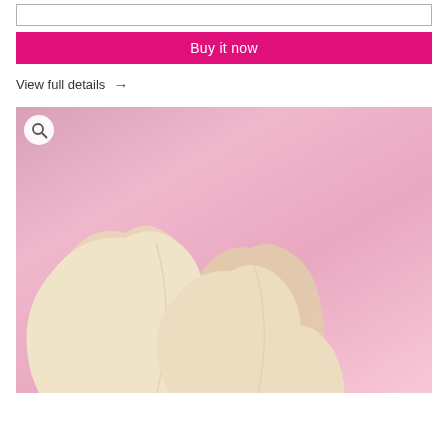Buy it now
View full details →
[Figure (photo): Product photo of nude/cream colored bra padding inserts arranged on a pink background, with a magnifying glass icon in the top left corner.]